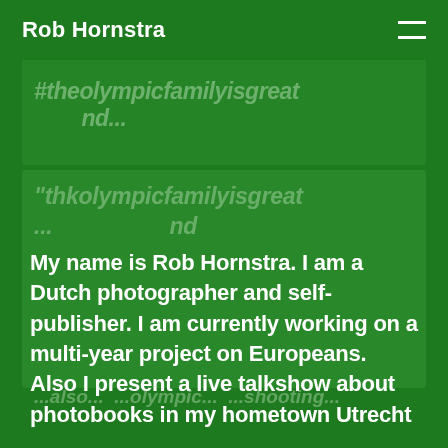Rob Hornstra
My name is Rob Hornstra. I am a Dutch photographer and self-publisher. I am currently working on a multi-year project on Europeans. Also I present a live talkshow about photobooks in my hometown Utrecht .